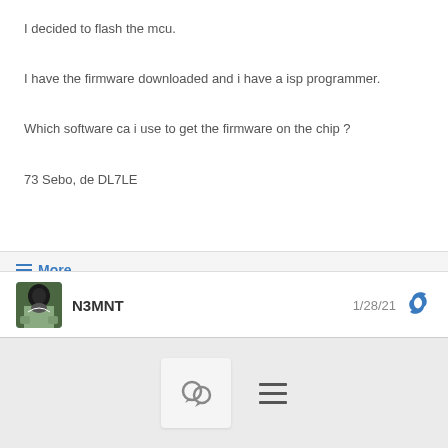I decided to flash the mcu.
I have the firmware downloaded and i have a isp programmer.
Which software ca i use to get the firmware on the chip ?
73 Sebo, de DL7LE
≡ More
N3MNT  1/28/21
[Figure (other): Bottom navigation bar with chat bubble icon and hamburger menu icon]